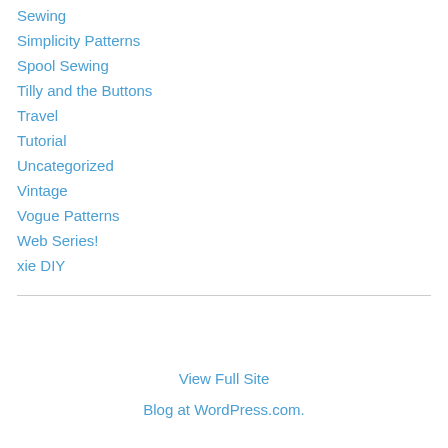Sewing
Simplicity Patterns
Spool Sewing
Tilly and the Buttons
Travel
Tutorial
Uncategorized
Vintage
Vogue Patterns
Web Series!
xie DIY
View Full Site
Blog at WordPress.com.